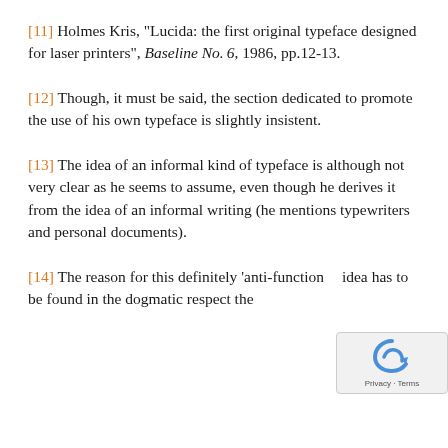[11] Holmes Kris, "Lucida: the first original typeface designed for laser printers", Baseline No. 6, 1986, pp.12-13.
[12] Though, it must be said, the section dedicated to promote the use of his own typeface is slightly insistent.
[13] The idea of an informal kind of typeface is although not very clear as he seems to assume, even though he derives it from the idea of an informal writing (he mentions typewriters and personal documents).
[14] The reason for this definitely ‘anti-function’ idea has to be found in the dogmatic respect the